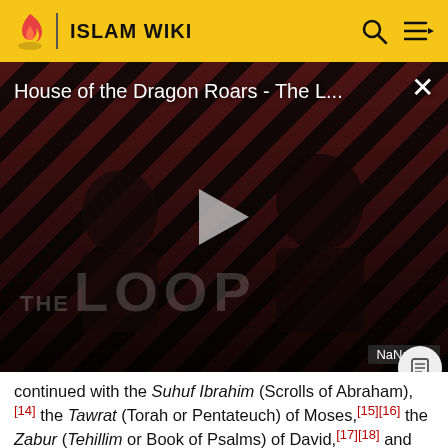ISLAM WIKI
[Figure (screenshot): Video player overlay showing 'House of the Dragon Roars - The L...' with diagonal red/black stripes background, two dark silhouetted figures, a play button triangle, 'THE LOOP' watermark text, and 'NaN:NaN' time badge in bottom right.]
continued with the Suhuf Ibrahim (Scrolls of Abraham),[14] the Tawrat (Torah or Pentateuch) of Moses,[15][16] the Zabur (Tehillim or Book of Psalms) of David,[17][18] and the Injil (Gospel) of Jesus.[19][20][21] The Qur'an assumes familiarity with major narratives recounted in Jewish and Christian scriptures, summarising some, dwelling at